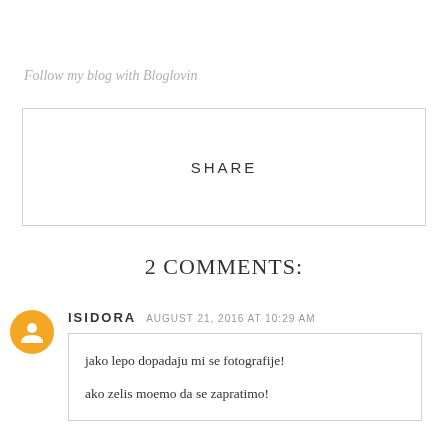Follow my blog with Bloglovin
[Figure (other): SHARE button/widget box with border]
2 COMMENTS:
ISIDORA  AUGUST 21, 2016 AT 10:29 AM
jako lepo dopadaju mi se fotografije!
ako zelis moemo da se zapratimo!